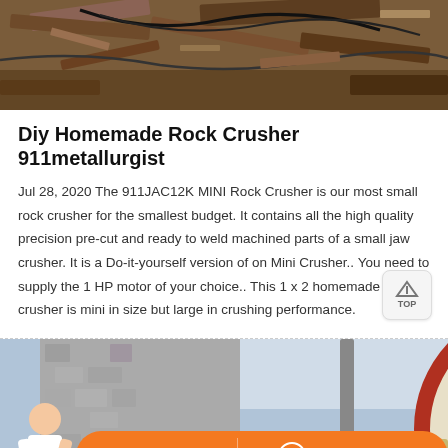[Figure (photo): Top portion of a photo showing metal scrap/industrial debris on ground with cables, brownish rusty colors]
Diy Homemade Rock Crusher 911metallurgist
Jul 28, 2020 The 911JAC12K MINI Rock Crusher is our most small rock crusher for the smallest budget. It contains all the high quality precision pre-cut and ready to weld machined parts of a small jaw crusher. It is a Do-it-yourself version of on Mini Crusher.. You need to supply the 1 HP motor of your choice.. This 1 x 2 homemade rock crusher is mini in size but large in crushing performance.
[Figure (photo): Photo of industrial rock crusher machinery outdoors, showing a large red/cream flywheel and stone-textured wall in background]